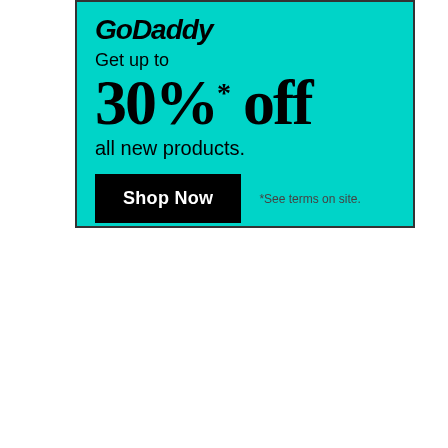[Figure (infographic): GoDaddy advertisement banner on cyan/turquoise background. Shows GoDaddy logo at top, text 'Get up to 30%* off all new products.', a black 'Shop Now' button, and '*See terms on site.' disclaimer.]
Get up to
30%* off
all new products.
Shop Now
*See terms on site.